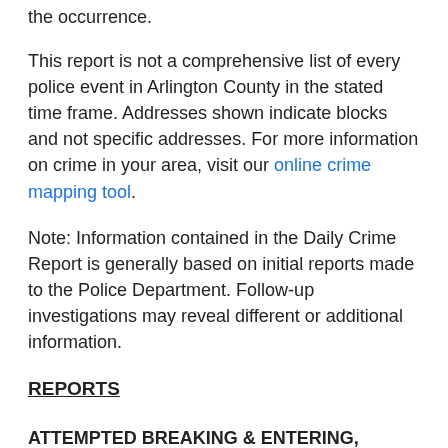the occurrence.
This report is not a comprehensive list of every police event in Arlington County in the stated time frame. Addresses shown indicate blocks and not specific addresses. For more information on crime in your area, visit our online crime mapping tool.
Note: Information contained in the Daily Crime Report is generally based on initial reports made to the Police Department. Follow-up investigations may reveal different or additional information.
REPORTS
ATTEMPTED BREAKING & ENTERING, 161012006, 1500 block of S. Fern Street. At approximately 12:37 a.m. on October 12, an unknown subject attempted to force entry into a business by shattering the front door. The suspect